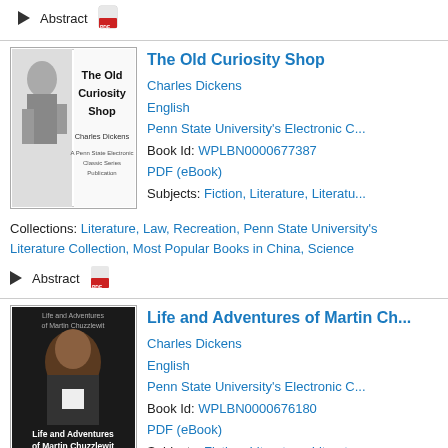Abstract (top, truncated)
[Figure (illustration): Book cover of The Old Curiosity Shop by Charles Dickens, showing a black and white illustration of a figure with the title text.]
The Old Curiosity Shop
Charles Dickens
English
Penn State University's Electronic C...
Book Id: WPLBN0000677387
PDF (eBook)
Subjects: Fiction, Literature, Literatu...
Collections: Literature, Law, Recreation, Penn State University's Literature Collection, Most Popular Books in China, Science
Abstract
[Figure (illustration): Book cover of Life and Adventures of Martin Chuzzlewit by Charles Dickens, dark cover with portrait of a man.]
Life and Adventures of Martin Ch...
Charles Dickens
English
Penn State University's Electronic C...
Book Id: WPLBN0000676180
PDF (eBook)
Subjects: Fiction, Literature, Literatu...